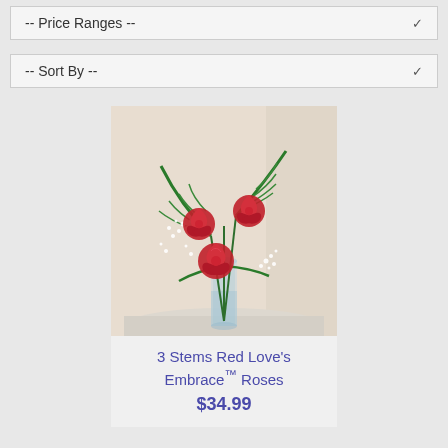-- Price Ranges --
-- Sort By --
[Figure (photo): Three red roses with green fern leaves and white baby's breath in a clear glass vase on a white round table with a soft light background.]
3 Stems Red Love's Embrace™ Roses
$34.99